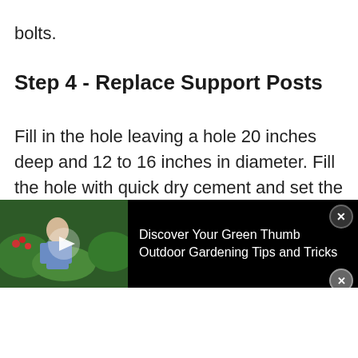bolts.
Step 4 - Replace Support Posts
Fill in the hole leaving a hole 20 inches deep and 12 to 16 inches in diameter. Fill the hole with quick dry cement and set the pole. Running a string line across from the other posts will help you locate
[Figure (screenshot): Video advertisement overlay showing a man in a garden with play button, text reading 'Discover Your Green Thumb Outdoor Gardening Tips and Tricks' and a close button]